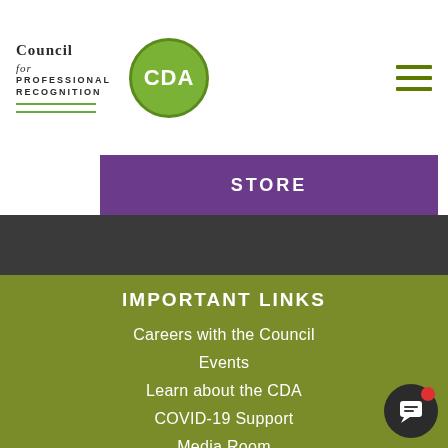[Figure (logo): Council for Professional Recognition logo with CDA green circle badge]
STORE
IMPORTANT LINKS
Careers with the Council
Events
Learn about the CDA
COVID-19 Support
Media Room